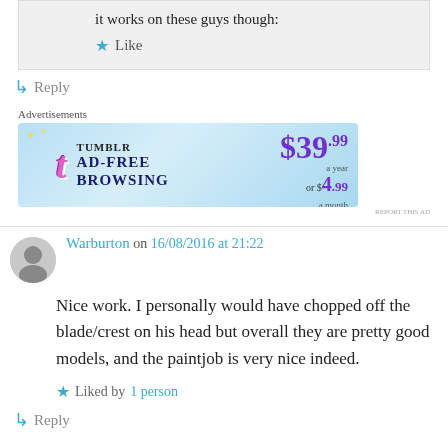it works on these guys though:
★ Like
↳ Reply
Advertisements
[Figure (other): Tumblr AD-FREE BROWSING banner ad: $39.99 a year or $4.99 a month]
Warburton on 16/08/2016 at 21:22
Nice work. I personally would have chopped off the blade/crest on his head but overall they are pretty good models, and the paintjob is very nice indeed.
★ Liked by 1 person
↳ Reply